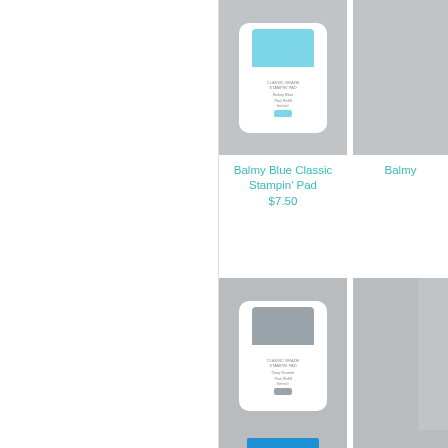[Figure (photo): Balmy Blue Classic Stampin' Pad product image - stamp pad with light blue top]
Balmy Blue Classic Stampin' Pad
$7.50
[Figure (photo): Partially visible second product image on right side, cut off]
Balmy
[Figure (photo): Gray Granite Classic Stampin' Pad product image - stamp pad with gray top]
Gray Granite Classic Stampin' Pad
$7.50
[Figure (photo): Partially visible Blueberry product on right, cut off]
Bluebe
$
[Figure (photo): Blue cardstock/ink pad at bottom, partially visible]